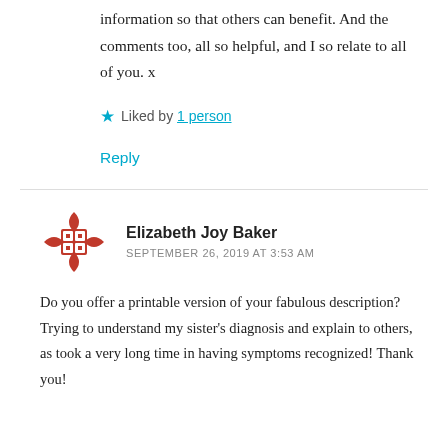information so that others can benefit. And the comments too, all so helpful, and I so relate to all of you. x
Liked by 1 person
Reply
Elizabeth Joy Baker
SEPTEMBER 26, 2019 AT 3:53 AM
Do you offer a printable version of your fabulous description? Trying to understand my sister's diagnosis and explain to others, as took a very long time in having symptoms recognized! Thank you!